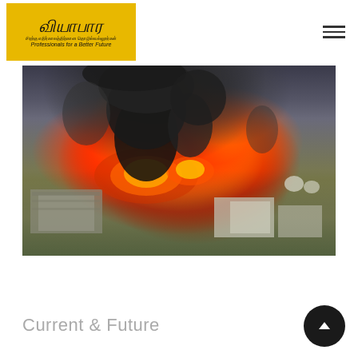Viyapari — Professionals for a Better Future (logo header with hamburger menu)
[Figure (photo): Aerial photograph of an industrial fire at a facility, showing massive orange and red flames with thick black smoke billowing upward. Buildings and industrial structures visible in the foreground and background.]
Current & Future